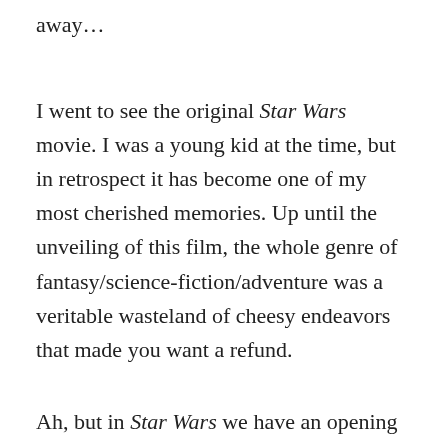away…
I went to see the original Star Wars movie. I was a young kid at the time, but in retrospect it has become one of my most cherished memories. Up until the unveiling of this film, the whole genre of fantasy/science-fiction/adventure was a veritable wasteland of cheesy endeavors that made you want a refund.
Ah, but in Star Wars we have an opening scene with a rebel ship being pursued and